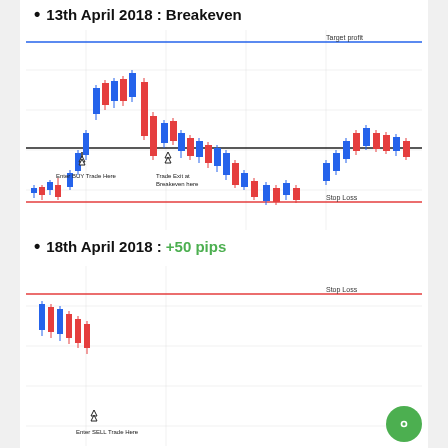13th April 2018 : Breakeven
[Figure (other): Candlestick trading chart for 13th April 2018 showing a BUY trade entry and exit at breakeven. Chart has a blue horizontal Target Profit line at top, a black horizontal entry line in the middle, and a red horizontal Stop Loss line at bottom. Red and blue candles shown with arrows pointing to 'Enter BUY Trade Here' and 'Trade Exit at Breakeven here'.]
18th April 2018 : +50 pips
[Figure (other): Candlestick trading chart for 18th April 2018 partially visible, showing a red horizontal Stop Loss line near the top and an 'Enter SELL Trade Here' annotation at the bottom with an arrow.]